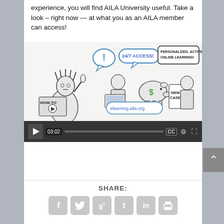experience, you will find AILA University useful. Take a look – right now — at what you as an AILA member can access!
[Figure (screenshot): Video player screenshot showing a cartoon illustration of AILA University e-learning features: Statue of Liberty, people learning, speech bubbles saying '24/7 ACCESS!' and 'PERSONALIZED, ACTIVE, ONLINE LEARNING!', a piggy bank, 'NEW CASES' books, and 'elearning.aila.org' text. Below is a dark video control bar with play button, time 03:02, progress bar, CC, settings and fullscreen buttons.]
SHARE:
[Figure (infographic): Row of six social sharing icon buttons (Facebook, Twitter, Google+, Tumblr, LinkedIn, Print) in gray rounded squares.]